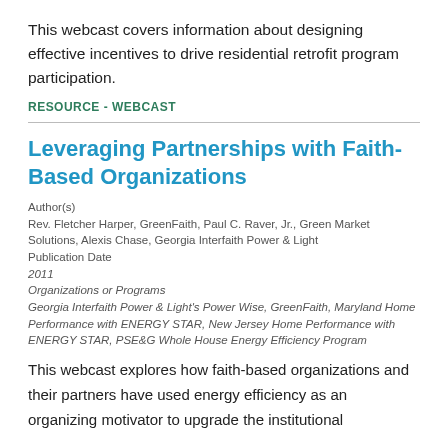This webcast covers information about designing effective incentives to drive residential retrofit program participation.
RESOURCE - WEBCAST
Leveraging Partnerships with Faith-Based Organizations
Author(s)
Rev. Fletcher Harper, GreenFaith, Paul C. Raver, Jr., Green Market Solutions, Alexis Chase, Georgia Interfaith Power & Light
Publication Date
2011
Organizations or Programs
Georgia Interfaith Power & Light's Power Wise, GreenFaith, Maryland Home Performance with ENERGY STAR, New Jersey Home Performance with ENERGY STAR, PSE&G Whole House Energy Efficiency Program
This webcast explores how faith-based organizations and their partners have used energy efficiency as an organizing motivator to upgrade the institutional